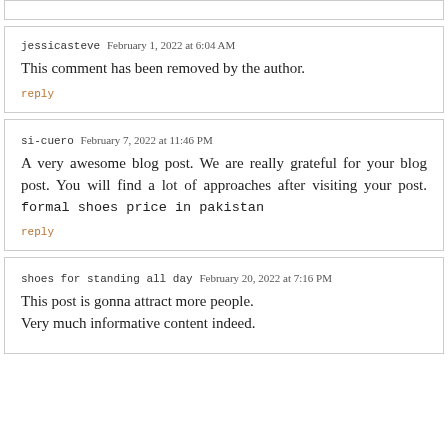jessicasteve  February 1, 2022 at 6:04 AM
This comment has been removed by the author.
reply
si-cuero  February 7, 2022 at 11:46 PM
A very awesome blog post. We are really grateful for your blog post. You will find a lot of approaches after visiting your post. formal shoes price in pakistan
reply
shoes for standing all day  February 20, 2022 at 7:16 PM
This post is gonna attract more people.
Very much informative content indeed.